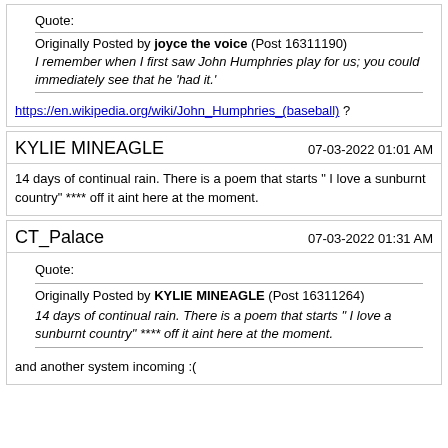Quote: Originally Posted by joyce the voice (Post 16311190) I remember when I first saw John Humphries play for us; you could immediately see that he 'had it.' https://en.wikipedia.org/wiki/John_Humphries_(baseball) ?
KYLIE MINEAGLE 07-03-2022 01:01 AM 14 days of continual rain. There is a poem that starts " I love a sunburnt country" **** off it aint here at the moment.
CT_Palace 07-03-2022 01:31 AM Quote: Originally Posted by KYLIE MINEAGLE (Post 16311264) 14 days of continual rain. There is a poem that starts " I love a sunburnt country" **** off it aint here at the moment. and another system incoming :(